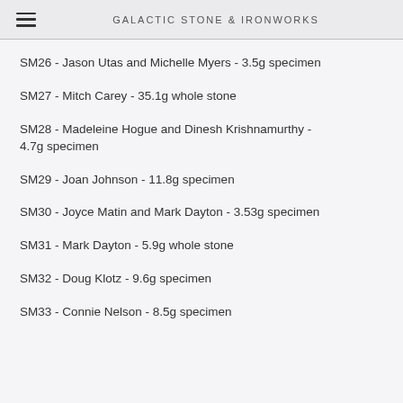GALACTIC STONE & IRONWORKS
SM26 - Jason Utas and Michelle Myers - 3.5g specimen
SM27 - Mitch Carey - 35.1g whole stone
SM28 - Madeleine Hogue and Dinesh Krishnamurthy - 4.7g specimen
SM29 - Joan Johnson - 11.8g specimen
SM30 - Joyce Matin and Mark Dayton - 3.53g specimen
SM31 - Mark Dayton - 5.9g whole stone
SM32 - Doug Klotz - 9.6g specimen
SM33 - Connie Nelson - 8.5g specimen